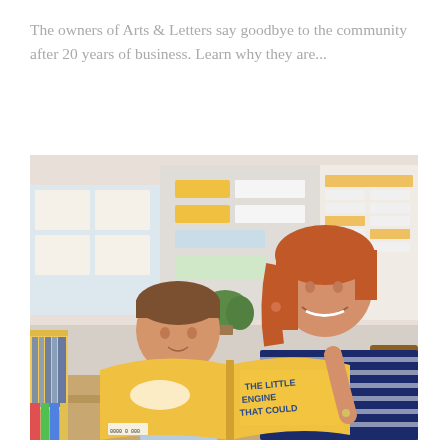The owners of Arts & Letters say goodbye to the community after 20 years of business. Learn why they are...
[Figure (photo): A smiling woman in a navy and white striped shirt reads 'The Little Engine That Could' with a young boy at a table in a classroom decorated with educational posters and yellow-accented materials.]